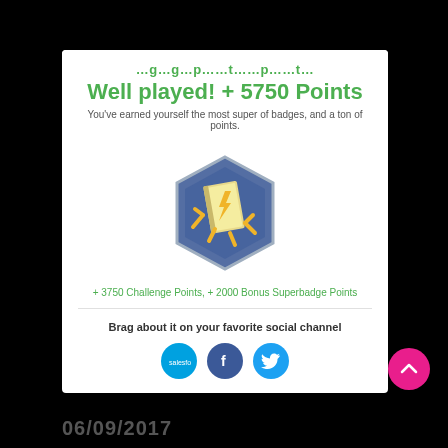Well played! + 5750 Points
You've earned yourself the most super of badges, and a ton of points.
[Figure (illustration): Hexagonal blue badge icon with a golden book and lightning bolt character]
+ 3750 Challenge Points, + 2000 Bonus Superbadge Points
Brag about it on your favorite social channel
[Figure (logo): Social media sharing icons: Salesforce, Facebook, Twitter]
06/09/2017